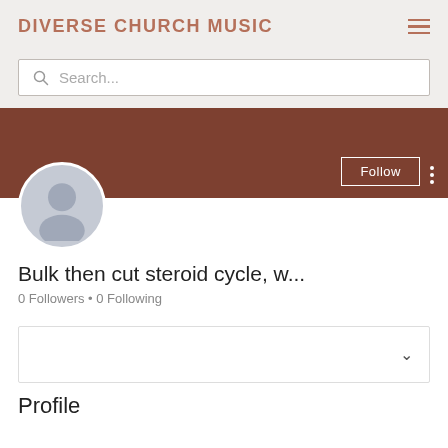DIVERSE CHURCH MUSIC
Search...
[Figure (screenshot): User profile banner with brown background, Follow button and three-dot menu icon]
[Figure (illustration): Default user avatar silhouette in gray circle]
Bulk then cut steroid cycle, w...
0 Followers • 0 Following
Profile